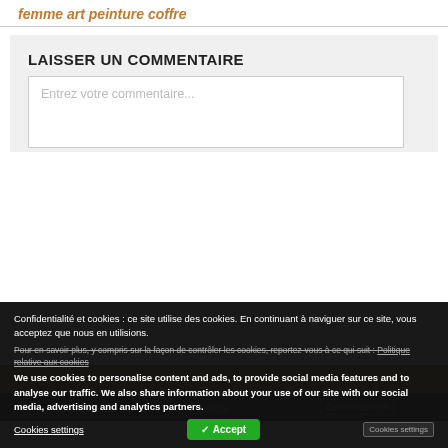femme art peinture coffre
LAISSER UN COMMENTAIRE
Entrez votre commentaire...
Confidentialité et cookies : ce site utilise des cookies. En continuant à naviguer sur ce site, vous acceptez que nous en utilisions. Pour en savoir plus, y compris sur la façon de contrôler les cookies, reportez-vous à ce qui suit : Politique relative aux cookies
We use cookies to personalise content and ads, to provide social media features and to analyse our traffic. We also share information about your use of our site with our social media, advertising and analytics partners.
Cookies settings
✓ Accept
Mentions légales   CGV   Cookies settings